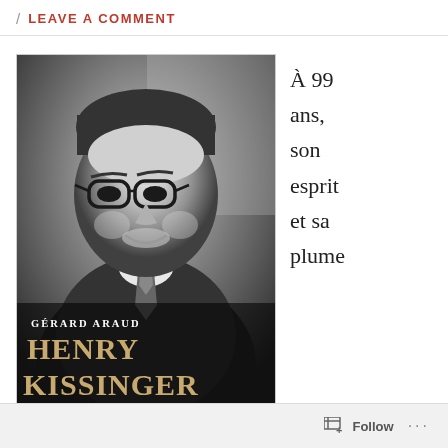/ LEAVE A COMMENT
[Figure (photo): Book cover of 'Henry Kissinger' by Gérard Araud, showing a black-and-white photograph of Henry Kissinger smiling, wearing glasses and a suit with tie. The author name 'GÉRARD ARAUD' appears in white uppercase text, and the title 'HENRY KISSINGER' appears in large gold/bronze serif letters at the bottom.]
À 99 ans, son esprit et sa plume
Follow ...